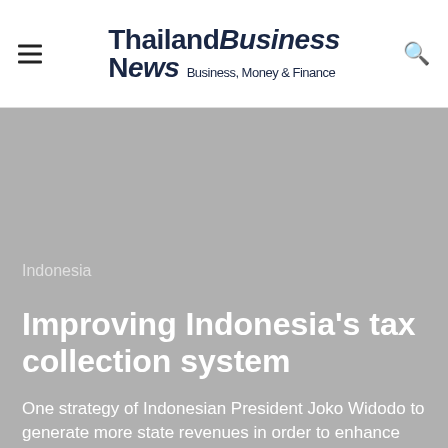Thailand Business News – Business, Money & Finance
Indonesia
Improving Indonesia's tax collection system
One strategy of Indonesian President Joko Widodo to generate more state revenues in order to enhance investments in social and economic development of Indonesia is by improving the country's tax collection system